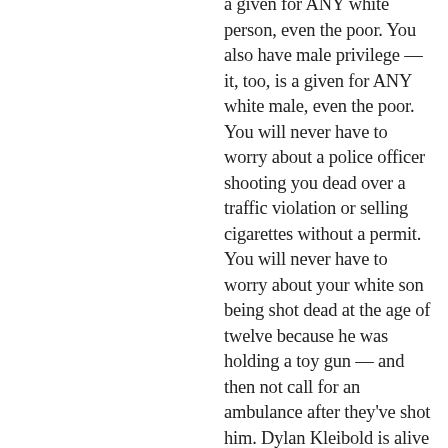a given for ANY white person, even the poor. You also have male privilege — it, too, is a given for ANY white male, even the poor. You will never have to worry about a police officer shooting you dead over a traffic violation or selling cigarettes without a permit. You will never have to worry about your white son being shot dead at the age of twelve because he was holding a toy gun — and then not call for an ambulance after they've shot him. Dylan Kleibold is alive — do you really think that if he'd been Black he would be? Nikolas Cruz is alive — do you really think that if he'd been brown-skinned he would